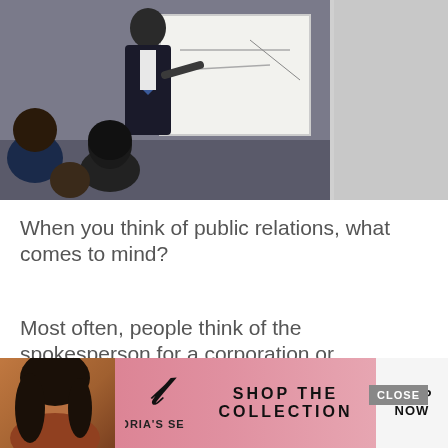[Figure (photo): A person presenting at a whiteboard to a group of people seated around them in a business/educational setting. A grey panel appears to the right of the main photo area.]
When you think of public relations, what comes to mind?
Most often, people think of the spokesperson for a corporation or government entity.
While this can be true, there are so many roles that s[truncated by ad overlay]
[Figure (photo): Victoria's Secret advertisement banner overlaid at the bottom of the page. Features a model, the Victoria's Secret logo with the VS symbol, and text reading SHOP THE COLLECTION with a SHOP NOW button, and a CLOSE button in grey.]